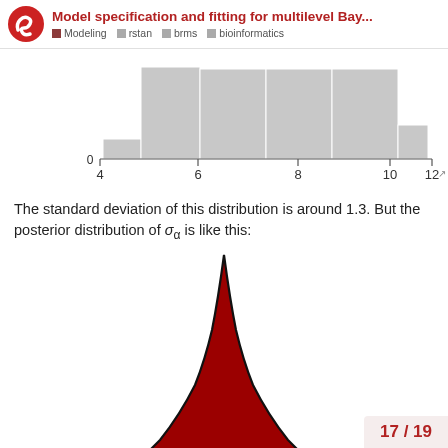Model specification and fitting for multilevel Bay... | Modeling | rstan | brms | bioinformatics
[Figure (continuous-plot): Histogram showing a distribution with x-axis from 4 to 12, y-axis starting at 0. Bars are light gray. The distribution is roughly flat/uniform across the range 4-12 with a small bar near 4 and a smaller bar near 12.]
The standard deviation of this distribution is around 1.3. But the posterior distribution of σ_α is like this:
[Figure (continuous-plot): Posterior distribution plot of σ_α shown as a tall, narrow red filled area with black outline, peaked near the center, resembling a sharp bell/triangle shape. Only the upper portion is visible as the chart extends below the page.]
17 / 19